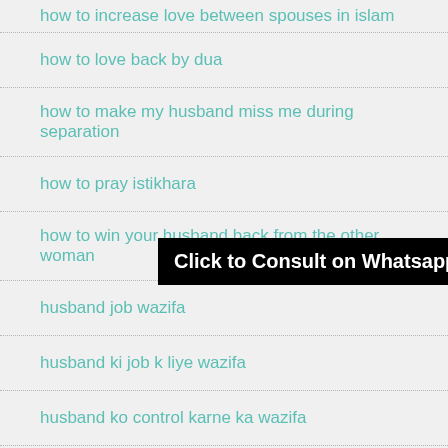how to increase love between spouses in islam
how to love back by dua
how to make my husband miss me during separation
how to pray istikhara
how to win your husband back from the other woman
husband job wazifa
[Figure (other): Black banner with white bold text: Click to Consult on Whatsapp]
husband ki job k liye wazifa
husband ko control karne ka wazifa
husband ko kabu karne ka wazifa
husband ko kabu karne ki dua